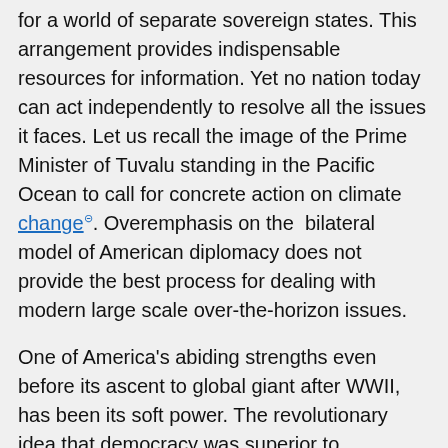for a world of separate sovereign states.  This arrangement provides indispensable resources for information.  Yet no nation today can act independently to resolve all the issues it faces.  Let us recall the image of the Prime Minister of Tuvalu standing in the Pacific Ocean to call for concrete action on climate change. Overemphasis on the  bilateral model of American diplomacy does not provide the best process for dealing with modern large scale over-the-horizon issues.
One of America's abiding strengths even before its ascent to global giant after WWII, has been its soft power.  The revolutionary idea that democracy was superior to monarchy transformed Europe and the Americas and stands as the goal if not the reality in many places still around the world.  In the decades since the Soviet Union collapsed and especially during the times of the Middle East wars, soft power - the ability to guide outcomes with culture, the sciences and by the power of our example – has receded.
Now soft power has a new role to play, not merely as a